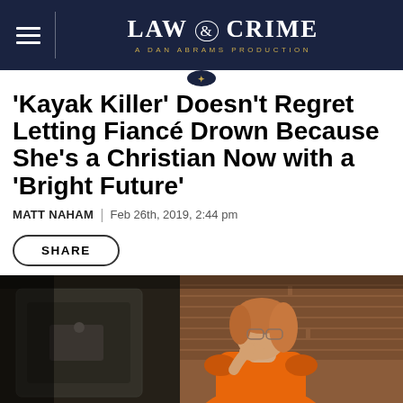LAW & CRIME — A DAN ABRAMS PRODUCTION
'Kayak Killer' Doesn't Regret Letting Fiancé Drown Because She's a Christian Now with a 'Bright Future'
MATT NAHAM | Feb 26th, 2019, 2:44 pm
SHARE
[Figure (photo): A woman with reddish-blonde hair wearing an orange jumpsuit, touching her face, photographed in what appears to be a van or vehicle interior with brick wall visible in background.]